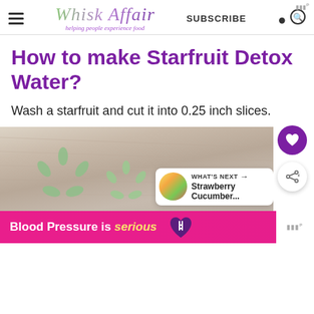Whisk Affair — Helping people experience food — SUBSCRIBE
How to make Starfruit Detox Water?
Wash a starfruit and cut it into 0.25 inch slices.
[Figure (photo): A cutting board with starfruit slices and a 'What's Next: Strawberry Cucumber...' suggestion box, with floating heart and share buttons]
[Figure (infographic): Ad banner: Blood Pressure is serious with a purple heart icon]